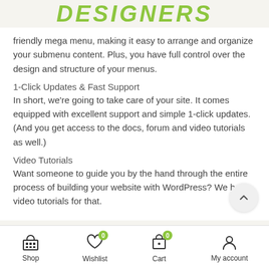DESIGNERS
friendly mega menu, making it easy to arrange and organize your submenu content. Plus, you have full control over the design and structure of your menus.
1-Click Updates & Fast Support
In short, we're going to take care of your site. It comes equipped with excellent support and simple 1-click updates. (And you get access to the docs, forum and video tutorials as well.)
Video Tutorials
Want someone to guide you by the hand through the entire process of building your website with WordPress? We have video tutorials for that.
Shop | Wishlist 0 | Cart 0 | My account